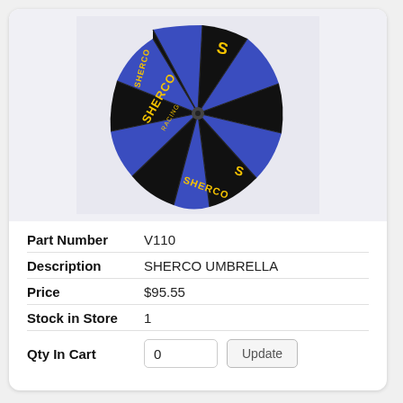[Figure (photo): Top-down view of a Sherco Racing umbrella with blue and black panels and yellow Sherco branding/logo]
| Part Number | V110 |
| Description | SHERCO UMBRELLA |
| Price | $95.55 |
| Stock in Store | 1 |
| Qty In Cart | 0 |